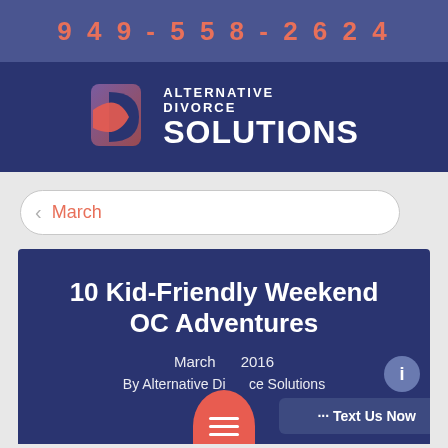949-558-2624
[Figure (logo): Alternative Divorce Solutions logo with abstract geometric icon in red/purple and white text on dark blue background]
March
10 Kid-Friendly Weekend OC Adventures
March 2016
By Alternative Divorce Solutions